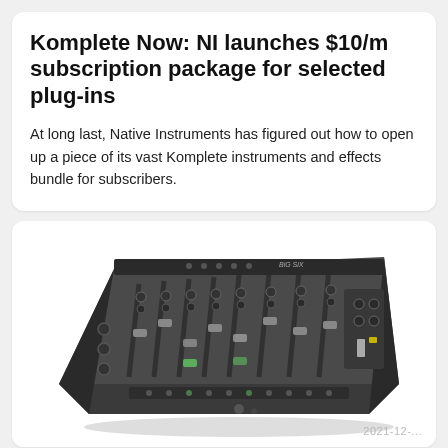Komplete Now: NI launches $10/m subscription package for selected plug-ins
At long last, Native Instruments has figured out how to open up a piece of its vast Komplete instruments and effects bundle for subscribers.
[Figure (photo): Photo of a dark grey audio mixing console (Big Six) viewed from a slightly elevated angle, showing faders, knobs, and channel strips on a white background. Date watermark '2021-12-...' visible in bottom right corner.]